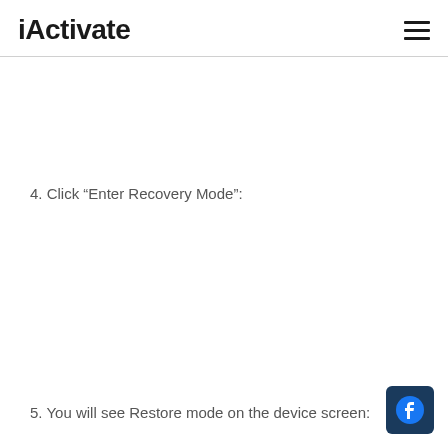iActivate
4. Click “Enter Recovery Mode”:
5. You will see Restore mode on the device screen: